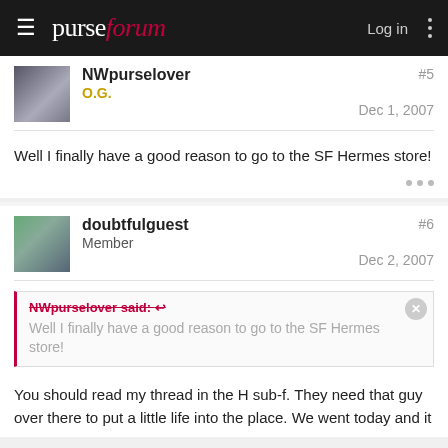purseforum — Log in
NWpurselover
O.G.
#5
Dec 1, 2007
Well I finally have a good reason to go to the SF Hermes store!
doubtfulguest
Member
#6
Dec 2, 2007
NWpurselover said: ↩
Well I finally have a good reason to go to the SF Hermes store!
You should read my thread in the H sub-f. They need that guy over there to put a little life into the place. We went today and it